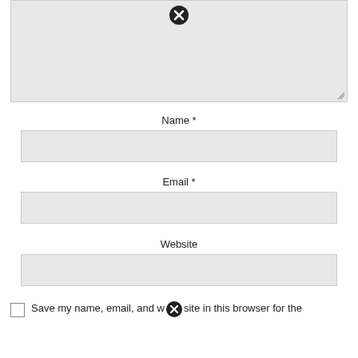[Figure (screenshot): Text area input box with close/error icon at top center and resize handle at bottom right]
Name *
[Figure (screenshot): Name input field, empty, light gray background]
Email *
[Figure (screenshot): Email input field, empty, light gray background]
Website
[Figure (screenshot): Website input field, empty, light gray background]
Save my name, email, and website in this browser for the